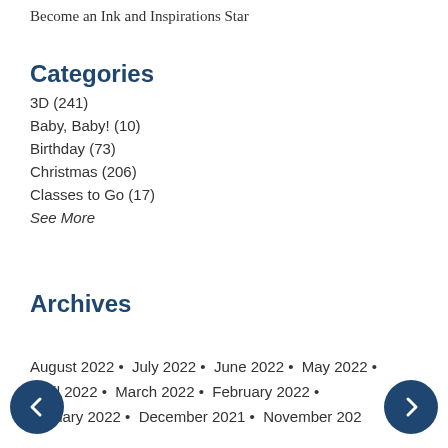Become an Ink and Inspirations Star
Categories
3D (241)
Baby, Baby! (10)
Birthday (73)
Christmas (206)
Classes to Go (17)
See More
Archives
August 2022 • July 2022 • June 2022 • May 2022 • April 2022 • March 2022 • February 2022 • January 2022 • December 2021 • November 202…